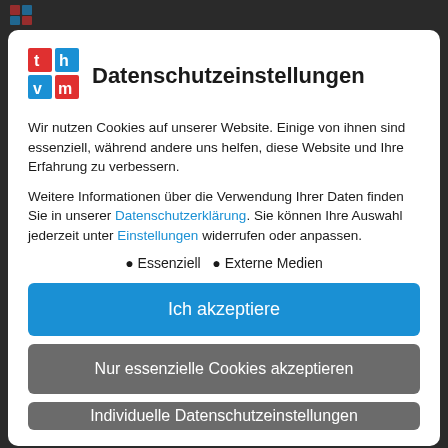[Figure (screenshot): Dark browser top bar with partial logo icons visible]
Datenschutzeinstellungen
Wir nutzen Cookies auf unserer Website. Einige von ihnen sind essenziell, während andere uns helfen, diese Website und Ihre Erfahrung zu verbessern.
Weitere Informationen über die Verwendung Ihrer Daten finden Sie in unserer Datenschutzerklärung. Sie können Ihre Auswahl jederzeit unter Einstellungen widerrufen oder anpassen.
Essenziell
Externe Medien
Ich akzeptiere
Nur essenzielle Cookies akzeptieren
Individuelle Datenschutzeinstellungen